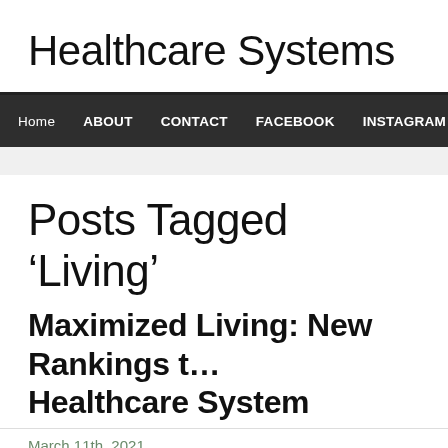Healthcare Systems
Home  ABOUT  CONTACT  FACEBOOK  INSTAGRAM  PRIVACY POL…
Posts Tagged 'Living'
Maximized Living: New Rankings t… Healthcare System
March 11th, 2021
The American healthcare system continues to crumble. Bankruptcy due t… an all time high. While the health of Americans is at an all time low. From… unnecessary procedures, and drug prescription side effects to increases…